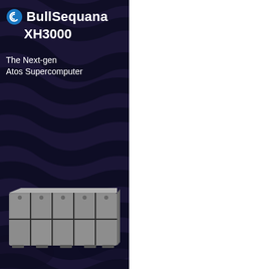BullSequana XH3000
The Next-gen Atos Supercomputer
[Figure (photo): BullSequana XH3000 supercomputer hardware unit — a large rack-mounted compute cabinet with multiple stacked blade modules, metallic gray finish with visible panels and cooling units arranged in a 5-wide by 2-tall configuration.]